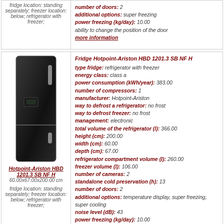fridge location: standing separately; freezer location: below; refrigerator with freezer;
number of doors: 2
additional options: super freezing
power freezing (kg/day): 10.00
ability to change the position of the door
more information
[Figure (photo): Black refrigerator with freezer below - Hotpoint-Ariston HBD 1201.3 SB NF H]
Hotpoint-Ariston HBD 1201.3 SB NF H
60.00x67.00x200.00 cm
fridge location: standing separately; freezer location: below; refrigerator with freezer;
Fridge Hotpoint-Ariston HBD 1201.3 SB NF H
type fridge: refrigerator with freezer
energy class: class a
power consumption (kWh/year): 383.00
number of compressors: 1
manufacturer: Hotpoint-Ariston
way to defrost a refrigerator: no frost
way to defrost freezer: no frost
management: electronic
total volume of the refrigerator (l): 366.00
height (cm): 200.00
width (cm): 60.00
depth (cm): 67.00
refrigerator compartment volume (l): 260.00
freezer volume (l): 106.00
number of cameras: 2
standalone cold preservation (h): 13
number of doors: 2
additional options: temperature display, super freezing, super cooling
noise level (dB): 43
power freezing (kg/day): 10.00
mode "vacation"
ability to change the position of the door
more information